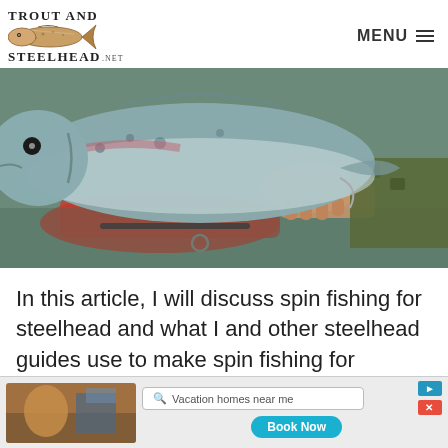TROUT AND STEELHEAD .NET — MENU
[Figure (photo): Close-up photo of a steelhead fish being held by a person near a red raft on the water]
In this article, I will discuss spin fishing for steelhead and what I and other steelhead guides use to make spin fishing for steelhead in rivers more effective. I will
[Figure (other): Advertisement banner with vacation photo, search box 'Vacation homes near me', and 'Book Now' button]